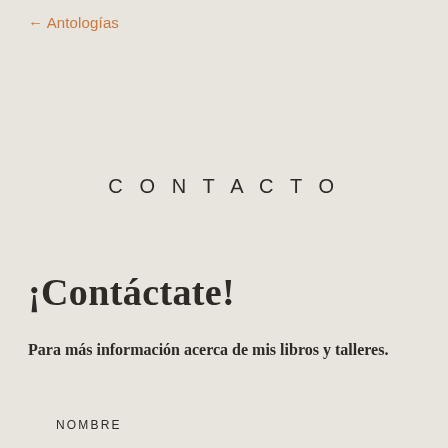← Antologías
CONTACTO
¡Contáctate!
Para más información acerca de mis libros y talleres.
NOMBRE